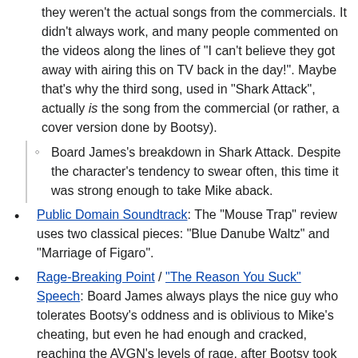they weren't the actual songs from the commercials. It didn't always work, and many people commented on the videos along the lines of "I can't believe they got away with airing this on TV back in the day!". Maybe that's why the third song, used in "Shark Attack", actually is the song from the commercial (or rather, a cover version done by Bootsy).
Board James's breakdown in Shark Attack. Despite the character's tendency to swear often, this time it was strong enough to take Mike aback.
Public Domain Soundtrack: The "Mouse Trap" review uses two classical pieces: "Blue Danube Waltz" and "Marriage of Figaro".
Rage-Breaking Point / "The Reason You Suck" Speech: Board James always plays the nice guy who tolerates Bootsy's oddness and is oblivious to Mike's cheating, but even he had enough and cracked, reaching the AVGN's levels of rage, after Bootsy took his Toy Shark to fuck it.